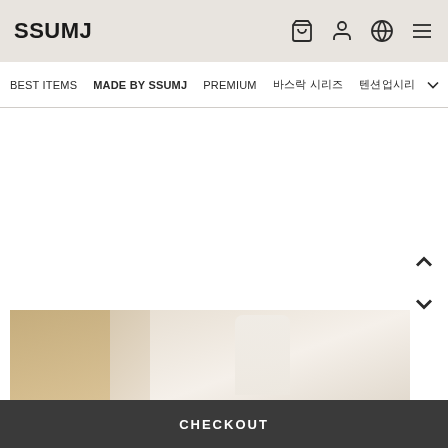SSUMJ
BEST ITEMS  MADE BY SSUMJ  PREMIUM  바스락 시리즈  텐션업시리즈
[Figure (photo): A person wearing a white top, touching their face, photographed in an indoor setting]
CHECKOUT